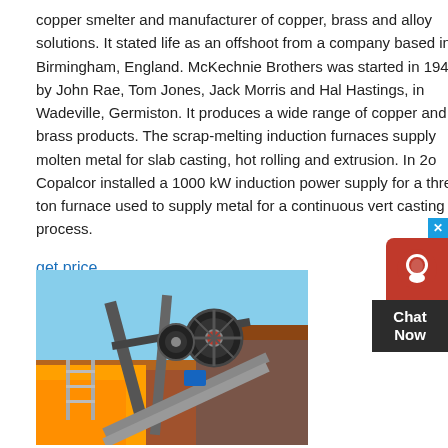copper smelter and manufacturer of copper, brass and alloy solutions. It stated life as an offshoot from a company based in Birmingham, England. McKechnie Brothers was started in 1948 by John Rae, Tom Jones, Jack Morris and Hal Hastings, in Wadeville, Germiston. It produces a wide range of copper and brass products. The scrap-melting induction furnaces supply molten metal for slab casting, hot rolling and extrusion. In 2o Copalcor installed a 1000 kW induction power supply for a three-ton furnace used to supply metal for a continuous ver casting process.
get price
[Figure (photo): Photograph of industrial mining/crushing equipment — a jaw crusher mounted on a vehicle frame with yellow crane/truck visible, rocky terrain in background, blue sky.]